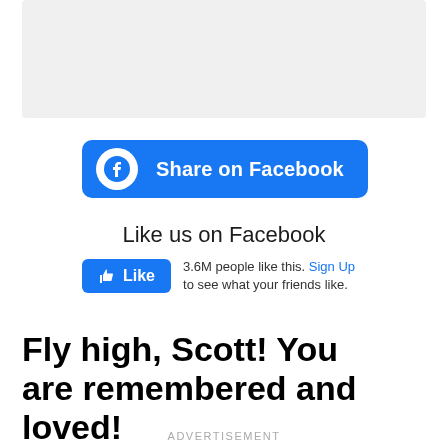[Figure (other): Gray placeholder box at top of page]
[Figure (other): Blue Facebook Share button with Facebook logo icon and text 'Share on Facebook']
Like us on Facebook
[Figure (other): Facebook Like widget showing blue Like button with thumbs-up icon, and text '3.6M people like this. Sign Up to see what your friends like.']
Fly high, Scott! You are remembered and loved!
ADVERTISEMENT